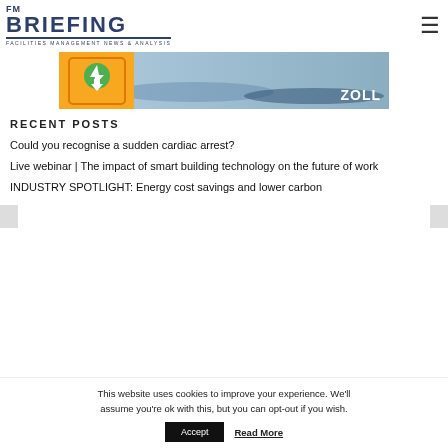FM BRIEFING FACILITIES MANAGEMENT NEWS & ANALYSIS
[Figure (photo): Advertisement banner showing an orange defibrillator device and a person lying on the ground, with ZOLL branding]
RECENT POSTS
Could you recognise a sudden cardiac arrest?
Live webinar | The impact of smart building technology on the future of work
INDUSTRY SPOTLIGHT: Energy cost savings and lower carbon
This website uses cookies to improve your experience. We'll assume you're ok with this, but you can opt-out if you wish.
Accept   Read More